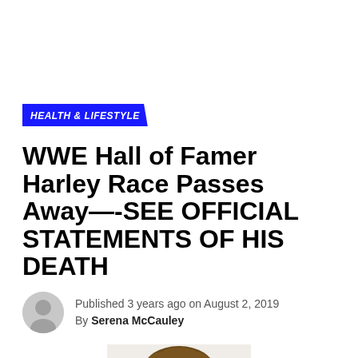HEALTH & LIFESTYLE
WWE Hall of Famer Harley Race Passes Away—-SEE OFFICIAL STATEMENTS OF HIS DEATH
Published 3 years ago on August 2, 2019
By Serena McCauley
[Figure (photo): Head and shoulders photo of Harley Race]